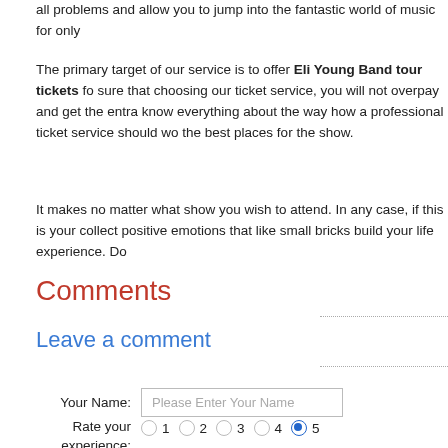all problems and allow you to jump into the fantastic world of music for only
The primary target of our service is to offer Eli Young Band tour tickets for sure that choosing our ticket service, you will not overpay and get the entra know everything about the way how a professional ticket service should wo the best places for the show.
It makes no matter what show you wish to attend. In any case, if this is your collect positive emotions that like small bricks build your life experience. Do
Comments
Leave a comment
Your Name: [Please Enter Your Name]
Rate your experience: 1 2 3 4 5